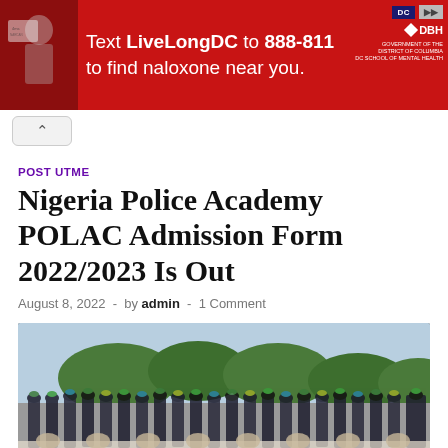[Figure (screenshot): Red advertisement banner: 'Text LiveLongDC to 888-811 to find naloxone near you.' with DC and DBH logos on the right side.]
[Figure (other): Small collapse/chevron-up button below the ad banner]
POST UTME
Nigeria Police Academy POLAC Admission Form 2022/2023 Is Out
August 8, 2022  -  by admin  -  1 Comment
[Figure (photo): A large group of Nigerian police officers in uniform with decorative caps seated in rows outdoors during a graduation or formal ceremony.]